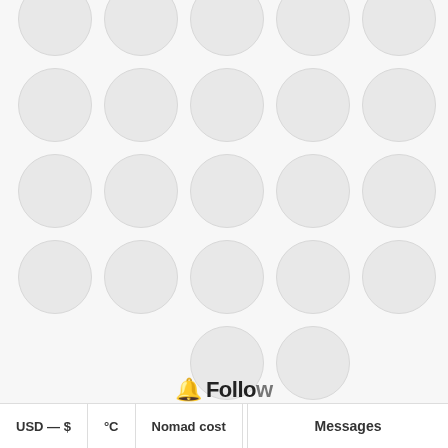[Figure (infographic): Grid of circular placeholder avatars arranged in a triangular/tapering pattern. Rows of 6, 6, 6, 6, and 2 circles.]
🔔 Follow
USD — $
°C
Nomad cost
Messages